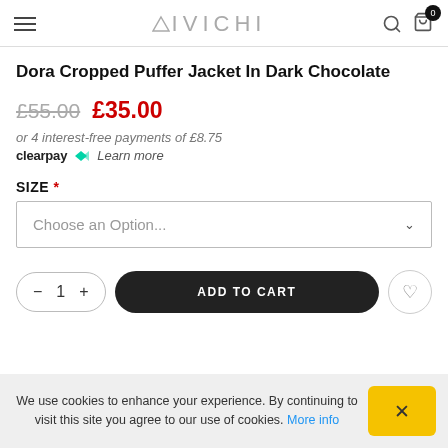VIVICHI
Dora Cropped Puffer Jacket In Dark Chocolate
£55.00 £35.00
or 4 interest-free payments of £8.75
clearpay Learn more
SIZE *
Choose an Option...
- 1 + ADD TO CART
We use cookies to enhance your experience. By continuing to visit this site you agree to our use of cookies. More info